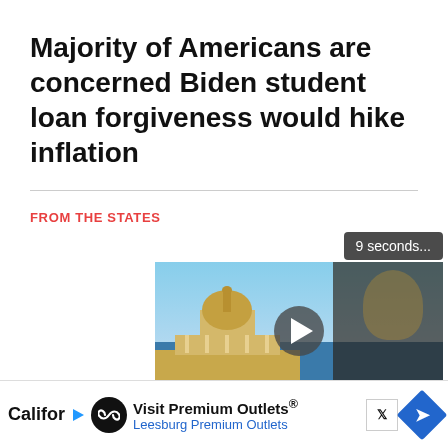Majority of Americans are concerned Biden student loan forgiveness would hike inflation
FROM THE STATES
[Figure (screenshot): Video player showing US Capitol building thumbnail with a person visible, play button overlay, countdown badge reading '9 seconds...', and video controls bar with pause, rewind, settings, and fullscreen icons. Just the News logo visible in controls.]
[Figure (infographic): Advertisement bar at bottom showing 'Califor' text (truncated), play button, infinity logo circle, 'Visit Premium Outlets® Leesburg Premium Outlets' text, X social media icon, blue diamond direction icon, and close button.]